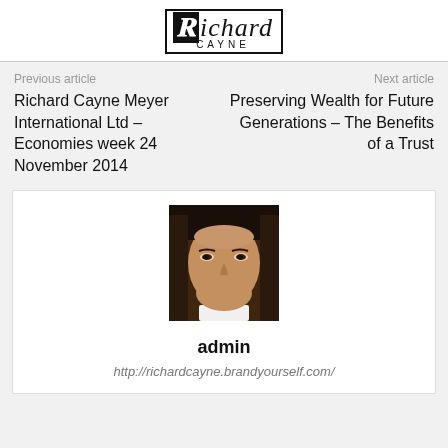Richard CAYNE
Previous article
Next article
Richard Cayne Meyer International Ltd – Economies week 24 November 2014
Preserving Wealth for Future Generations – The Benefits of a Trust
[Figure (photo): Headshot photo of admin – a man with dark hair in formal attire against a dark background]
admin
http://richardcayne.brandyourself.com/